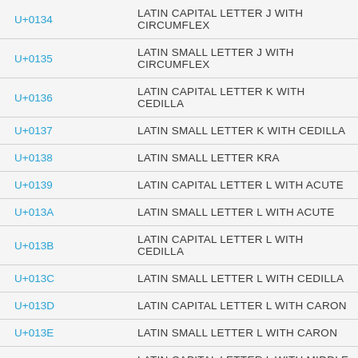| Code | Name |
| --- | --- |
| U+0134 | LATIN CAPITAL LETTER J WITH CIRCUMFLEX |
| U+0135 | LATIN SMALL LETTER J WITH CIRCUMFLEX |
| U+0136 | LATIN CAPITAL LETTER K WITH CEDILLA |
| U+0137 | LATIN SMALL LETTER K WITH CEDILLA |
| U+0138 | LATIN SMALL LETTER KRA |
| U+0139 | LATIN CAPITAL LETTER L WITH ACUTE |
| U+013A | LATIN SMALL LETTER L WITH ACUTE |
| U+013B | LATIN CAPITAL LETTER L WITH CEDILLA |
| U+013C | LATIN SMALL LETTER L WITH CEDILLA |
| U+013D | LATIN CAPITAL LETTER L WITH CARON |
| U+013E | LATIN SMALL LETTER L WITH CARON |
| U+013F | LATIN CAPITAL LETTER L WITH MIDDLE DOT |